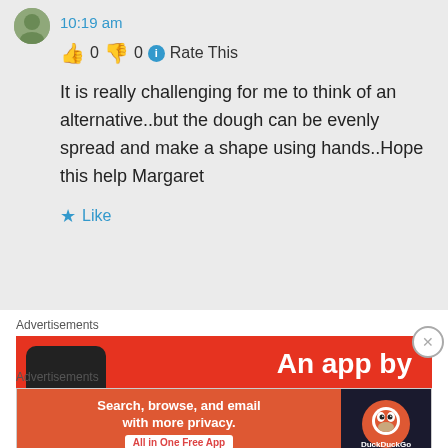10:19 am
👍 0 👎 0 ℹ Rate This
It is really challenging for me to think of an alternative..but the dough can be evenly spread and make a shape using hands..Hope this help Margaret
★ Like
Advertisements
[Figure (screenshot): Red advertisement banner showing 'An app by' text with phone image]
Advertisements
[Figure (screenshot): DuckDuckGo advertisement: Search, browse, and email with more privacy. All in One Free App]